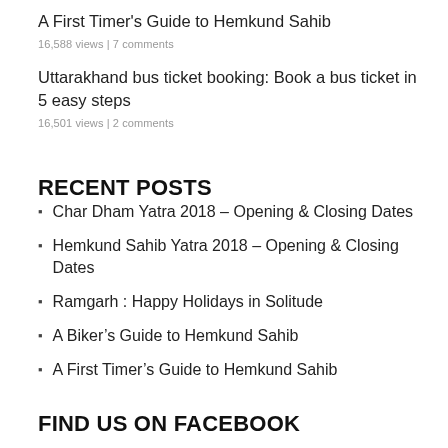A First Timer's Guide to Hemkund Sahib
16,588 views | 7 comments
Uttarakhand bus ticket booking: Book a bus ticket in 5 easy steps
16,501 views | 2 comments
RECENT POSTS
Char Dham Yatra 2018 – Opening & Closing Dates
Hemkund Sahib Yatra 2018 – Opening & Closing Dates
Ramgarh : Happy Holidays in Solitude
A Biker's Guide to Hemkund Sahib
A First Timer's Guide to Hemkund Sahib
FIND US ON FACEBOOK